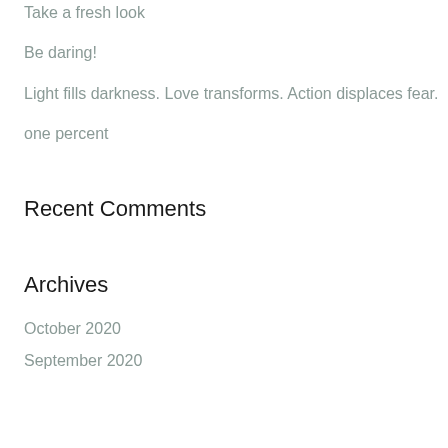Take a fresh look
Be daring!
Light fills darkness. Love transforms. Action displaces fear.
one percent
Recent Comments
Archives
October 2020
September 2020